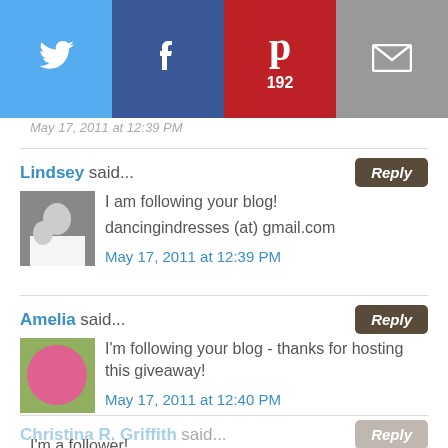[Figure (infographic): Social share bar with Twitter, Facebook, Pinterest (192), and Email buttons]
May 17, 2011 at 12:39 PM (partial, partially obscured at top)
Lindsey said...
I am following your blog!

dancingindresses (at) gmail.com
May 17, 2011 at 12:39 PM
Amelia said...
I'm following your blog - thanks for hosting this giveaway!
May 17, 2011 at 12:40 PM
Christina R. Griffith said...
I'm a follower!